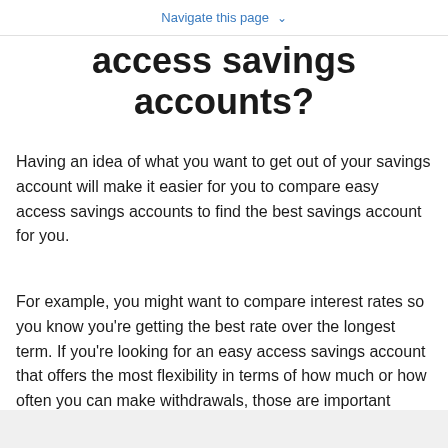Navigate this page ⌄
access savings accounts?
Having an idea of what you want to get out of your savings account will make it easier for you to compare easy access savings accounts to find the best savings account for you.
For example, you might want to compare interest rates so you know you're getting the best rate over the longest term. If you're looking for an easy access savings account that offers the most flexibility in terms of how much or how often you can make withdrawals, those are important details to look for.